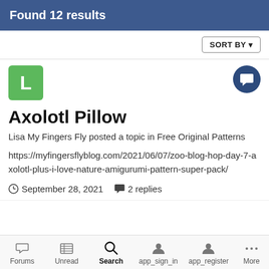Found 12 results
SORT BY
[Figure (other): Green square avatar with letter L]
Axolotl Pillow
Lisa My Fingers Fly posted a topic in Free Original Patterns
https://myfingersflyblog.com/2021/06/07/zoo-blog-hop-day-7-axolotl-plus-i-love-nature-amigurumi-pattern-super-pack/
September 28, 2021  2 replies
Forums  Unread  Search  app_sign_in  app_register  More